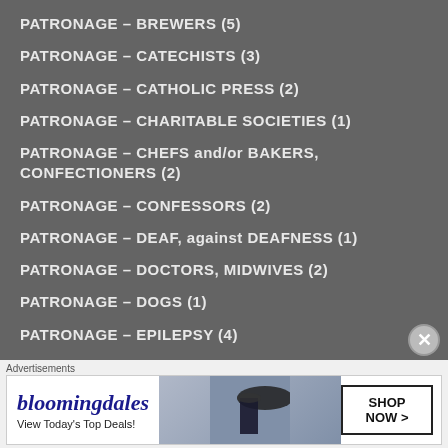PATRONAGE – BREWERS (5)
PATRONAGE – CATECHISTS (3)
PATRONAGE – CATHOLIC PRESS (2)
PATRONAGE – CHARITABLE SOCIETIES (1)
PATRONAGE – CHEFS and/or BAKERS, CONFECTIONERS (2)
PATRONAGE – CONFESSORS (2)
PATRONAGE – DEAF, against DEAFNESS (1)
PATRONAGE – DOCTORS, MIDWIVES (2)
PATRONAGE – DOGS (1)
PATRONAGE – EPILEPSY (4)
[Figure (screenshot): Bloomingdale's advertisement banner with text 'View Today's Top Deals!' and 'SHOP NOW >' button]